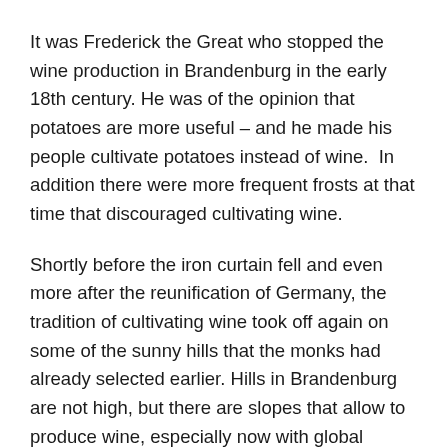It was Frederick the Great who stopped the wine production in Brandenburg in the early 18th century. He was of the opinion that potatoes are more useful – and he made his people cultivate potatoes instead of wine.  In addition there were more frequent frosts at that time that discouraged cultivating wine.
Shortly before the iron curtain fell and even more after the reunification of Germany, the tradition of cultivating wine took off again on some of the sunny hills that the monks had already selected earlier. Hills in Brandenburg are not high, but there are slopes that allow to produce wine, especially now with global warming. It may not be a Bordeaux or a Burgundy wine, but I found well made wine from biological production. Oh yes, some people say that wines from Brandenburg are sour – but I found them to be